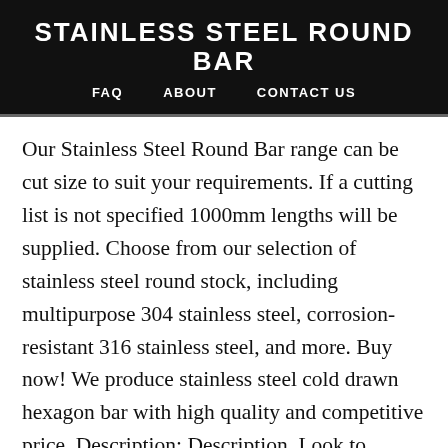STAINLESS STEEL ROUND BAR
FAQ    ABOUT    CONTACT US
Our Stainless Steel Round Bar range can be cut size to suit your requirements. If a cutting list is not specified 1000mm lengths will be supplied. Choose from our selection of stainless steel round stock, including multipurpose 304 stainless steel, corrosion-resistant 316 stainless steel, and more. Buy now! We produce stainless steel cold drawn hexagon bar with high quality and competitive price. Description; Description. Look to Ryerson for stainless steel bar in flat, half round, hexagon, round and square forms.